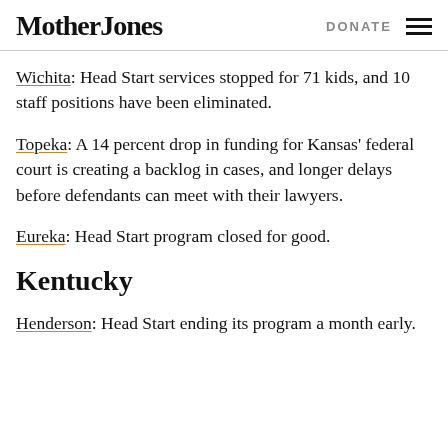Mother Jones | DONATE
Wichita: Head Start services stopped for 71 kids, and 10 staff positions have been eliminated.
Topeka: A 14 percent drop in funding for Kansas' federal court is creating a backlog in cases, and longer delays before defendants can meet with their lawyers.
Eureka: Head Start program closed for good.
Kentucky
Henderson: Head Start ending its program a month early.